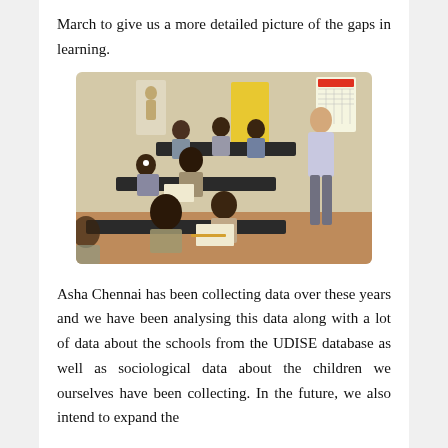March to give us a more detailed picture of the gaps in learning.
[Figure (photo): Children sitting at dark desks in a classroom, writing or working, with a teacher standing and observing. A yellow poster and a body diagram are visible on the wall in the background.]
Asha Chennai has been collecting data over these years and we have been analysing this data along with a lot of data about the schools from the UDISE database as well as sociological data about the children we ourselves have been collecting. In the future, we also intend to expand the